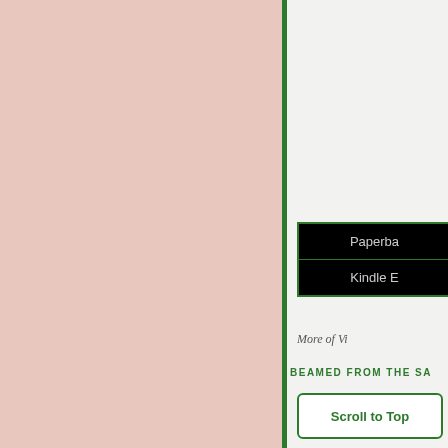[Figure (other): Left panel with solid pinkish-beige background color]
Paperba
Kindle E
More of Vi
BEAMED FROM THE SA
Scroll to Top